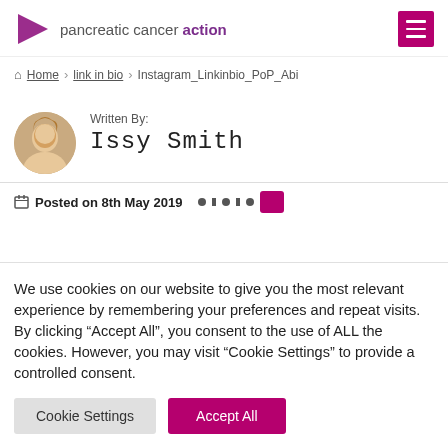[Figure (logo): Pancreatic Cancer Action logo with purple triangle/arrow icon and text 'pancreatic cancer action']
Home > link in bio > Instagram_Linkinbio_PoP_Abi
Written By:
Issy Smith
Posted on 8th May 2019
We use cookies on our website to give you the most relevant experience by remembering your preferences and repeat visits. By clicking "Accept All", you consent to the use of ALL the cookies. However, you may visit "Cookie Settings" to provide a controlled consent.